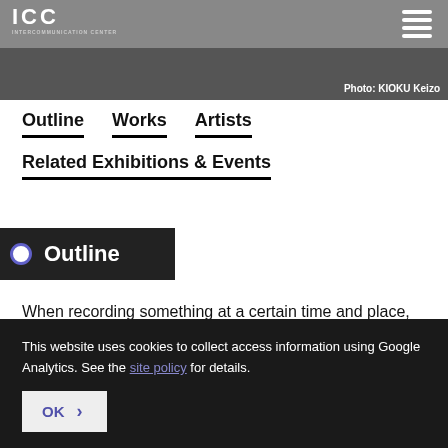ICC logo and menu
[Figure (photo): Dark photo of a person, photo credit: KIOKU Keizo]
Photo: KIOKU Keizo
Outline
Works
Artists
Related Exhibitions & Events
Outline
When recording something at a certain time and place, there
This website uses cookies to collect access information using Google Analytics. See the site policy for details.
OK >